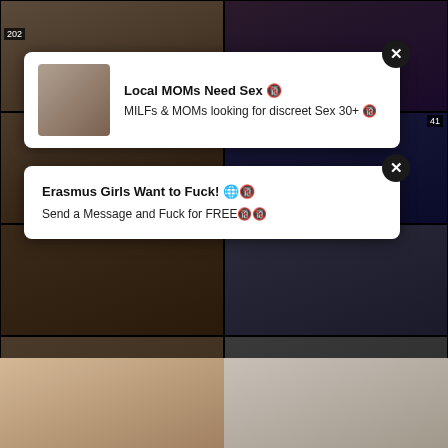[Figure (screenshot): Adult video thumbnail grid with overlay ads. Top row: two video thumbnails. Second row: ad overlay 'Local MOMs Need Sex / MILFs & MOMs looking for discreet Sex 30+'. Third row: ad overlay 'Erasmus Girls Want to Fuck! / Send a Message and Fuck for FREE'. Fourth row: 'Real Outdoor Fucking and Pussy Licking' 2020-10-10 19:03, 'Pt2 best angle plus bonus angle 2 cocks' 2020-10-10 17:18. Bottom row: two more thumbnails.]